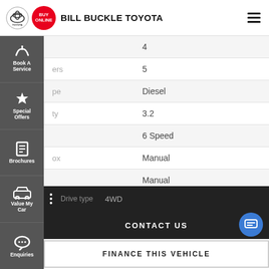[Figure (logo): Toyota logo and Bill Buckle Toyota dealer header with Buy Online badge and hamburger menu]
[Figure (other): Navigation sidebar with icons: Book A Service, Special Offers, Brochures, Value My Car, Enquiries]
| Attribute | Value |
| --- | --- |
|  | 4 |
| ers | 5 |
| pe | Diesel |
| ty | 3.2 |
|  | 6 Speed |
| ox | Manual |
|  | Manual |
|  | 96,103 kms |
Drive type  4WD
CONTACT US
FINANCE THIS VEHICLE